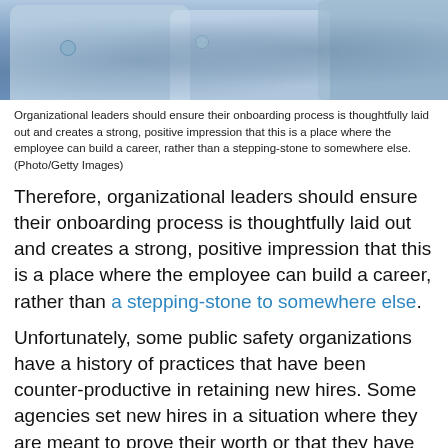[Figure (photo): Photo of people in blue uniforms/shirts, likely public safety or law enforcement officers]
Organizational leaders should ensure their onboarding process is thoughtfully laid out and creates a strong, positive impression that this is a place where the employee can build a career, rather than a stepping-stone to somewhere else. (Photo/Getty Images)
Therefore, organizational leaders should ensure their onboarding process is thoughtfully laid out and creates a strong, positive impression that this is a place where the employee can build a career, rather than a stepping-stone to somewhere else.
Unfortunately, some public safety organizations have a history of practices that have been counter-productive in retaining new hires. Some agencies set new hires in a situation where they are meant to prove their worth or that they have earned the right to have a place in the organization. In this type of environment, the new employee feels like an outsider for an extended period